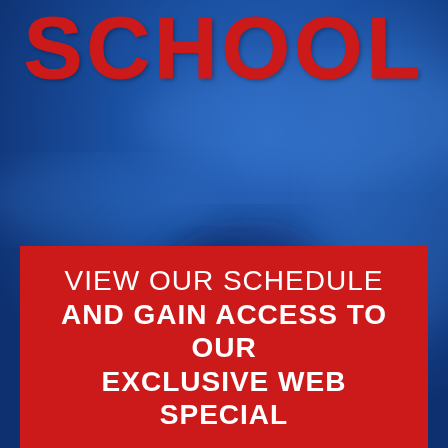SCHOOL
[Figure (photo): Blue background with blurred motion effect suggesting movement or action, dark shadowy figure visible in the lower middle portion of the image]
VIEW OUR SCHEDULE AND GAIN ACCESS TO OUR EXCLUSIVE WEB SPECIAL